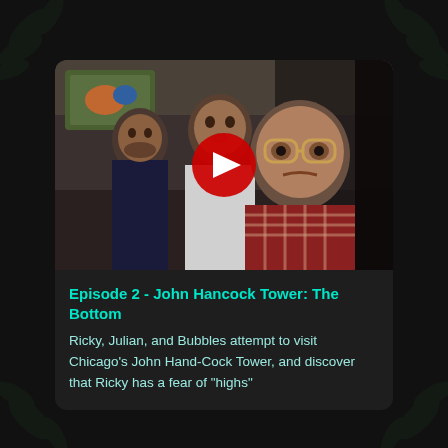[Figure (screenshot): Video thumbnail showing three men (Ricky, Julian, Bubbles) in what appears to be a hotel lobby, with a YouTube-style red play button overlay in the center.]
Episode 2 - John Hancock Tower: The Bottom
Ricky, Julian, and Bubbles attempt to visit Chicago's John Hand-Cock Tower, and discover that Ricky has a fear of "highs"